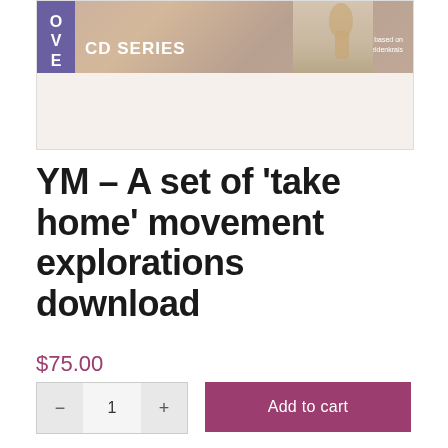[Figure (photo): Product image banner showing a CD series cover with purple sidebar letters 'OVE', 'CD SERIES' text, a hand reaching up into cloudy sky, and subtitle 'Movement explorations based on the work of Dr. Moshe Feldenkrais']
YM – A set of 'take home' movement explorations download
$75.00
- 1 + Add to cart